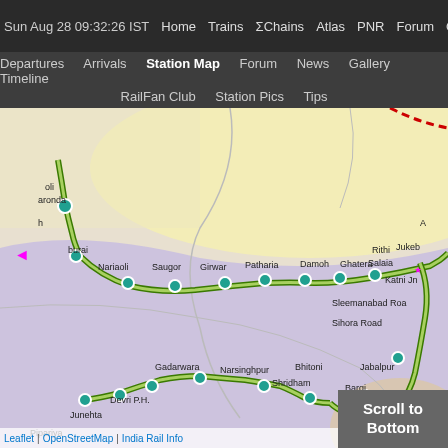Sun Aug 28 09:32:26 IST   Home   Trains   ΣChains   Atlas   PNR   Forum   Quiz R
Departures   Arrivals   Station Map   Forum   News   Gallery   Timeline   RailFan Club   Station Pics   Tips
[Figure (map): Station map showing railway route through central India with stations including Nariaoli, Saugor, Girwar, Patharia, Damoh, Ghatera, Salaia, Rithi, Katni Jn, Sleemanabad Road, Sihora Road, Jabalpur, Bhitoni, Bargi, Shridham, Narsinghpur, Gadarwara, Deori P.H., Junehta, Pipariya. Green double-line rail track with teal circle station markers. Purple/lavender region in lower half, cream/yellow region in upper area. Pink star marker at Katni Jn. Pink arrow cursor at left. Red dashed line in upper right corner.]
Leaflet | OpenStreetMap | India Rail Info
Scroll to Bottom